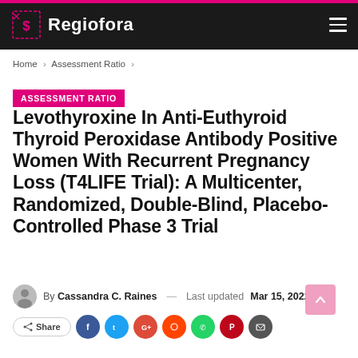Regiofora
Home > Assessment Ratio >
ASSESSMENT RATIO
Levothyroxine In Anti-Euthyroid Thyroid Peroxidase Antibody Positive Women With Recurrent Pregnancy Loss (T4LIFE Trial): A Multicenter, Randomized, Double-Blind, Placebo-Controlled Phase 3 Trial
By Cassandra C. Raines — Last updated Mar 15, 2022